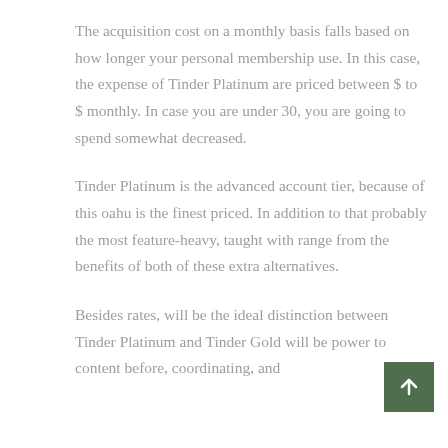The acquisition cost on a monthly basis falls based on how longer your personal membership use. In this case, the expense of Tinder Platinum are priced between $ to $ monthly. In case you are under 30, you are going to spend somewhat decreased.
Tinder Platinum is the advanced account tier, because of this oahu is the finest priced. In addition to that probably the most feature-heavy, taught with range from the benefits of both of these extra alternatives.
Besides rates, will be the ideal distinction between Tinder Platinum and Tinder Gold will be power to content before, coordinating, and